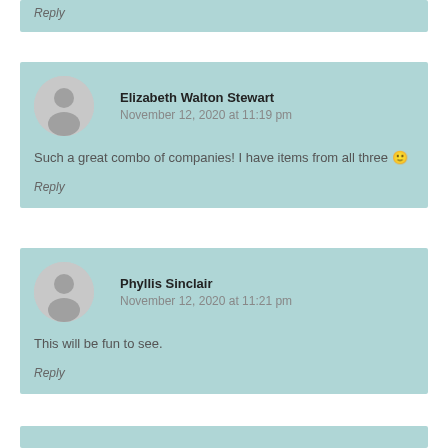Reply
Elizabeth Walton Stewart
November 12, 2020 at 11:19 pm
Such a great combo of companies! I have items from all three 🙂
Reply
Phyllis Sinclair
November 12, 2020 at 11:21 pm
This will be fun to see.
Reply